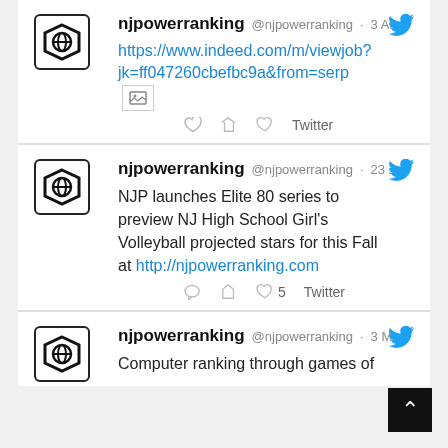[Figure (screenshot): Twitter/social media feed showing tweets from njpowerranking account. Three tweets visible: 1) A link tweet from 3 Aug with indeed.com job URL. 2) A 23 Jul tweet about NJP Elite 80 series for NJ High School Girls Volleyball with link to njpowerranking.com (5 likes). 3) A partial 3 Mar tweet about computer ranking through games.]